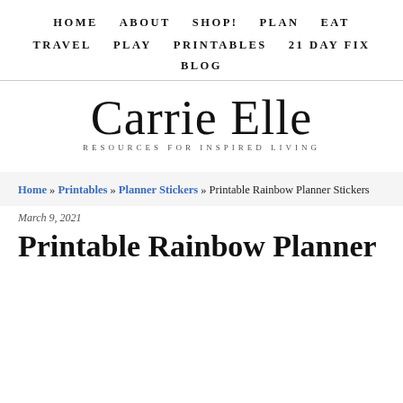HOME   ABOUT   SHOP!   PLAN   EAT
TRAVEL   PLAY   PRINTABLES   21 DAY FIX
BLOG
[Figure (logo): Carrie Elle logo with cursive script text 'Carrie Elle' and tagline 'RESOURCES FOR INSPIRED LIVING']
Home » Printables » Planner Stickers » Printable Rainbow Planner Stickers
March 9, 2021
Printable Rainbow Planner